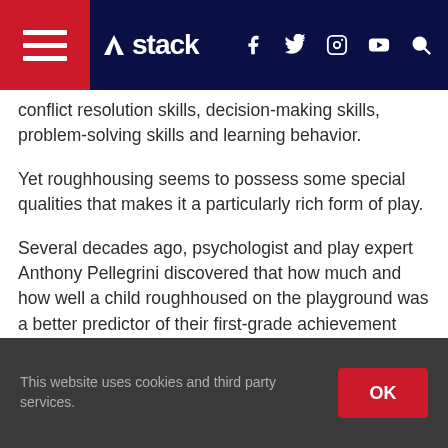stack [navigation bar with logo, social icons]
conflict resolution skills, decision-making skills, problem-solving skills and learning behavior.
Yet roughhousing seems to possess some special qualities that makes it a particularly rich form of play.
Several decades ago, psychologist and play expert Anthony Pellegrini discovered that how much and how well a child roughhoused on the playground was a better predictor of their first-grade achievement than their own kindergarten test scores. In the book The Art of Roughhousing, authors Anthony T. DeBenedet and Lawrence J. Cohen detail how physical play releases brain-derived neurotrophic factor, which stimulates new
This website uses cookies and third party services.